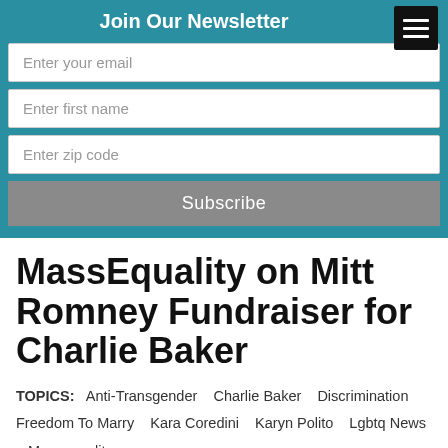Join Our Newsletter
Enter your email
Enter first name
Enter zip code
Subscribe
MassEquality on Mitt Romney Fundraiser for Charlie Baker
TOPICS: Anti-Transgender  Charlie Baker  Discrimination  Freedom To Marry  Kara Coredini  Karyn Polito  Lgbtq News  Massequality